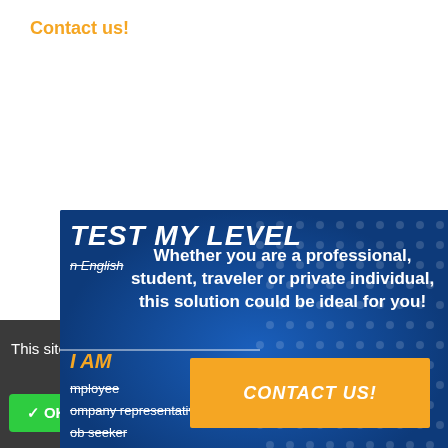Contact us!
[Figure (screenshot): Blue banner with overlapping content: 'TEST MY LEVEL' heading, crossed-out text about English level, overlay text 'Whether you are a professional, student, traveler or private individual, this solution could be ideal for you!', 'I AM' label, list items (employee, company representative, job seeker), and orange 'CONTACT US!' button]
This site uses cookies and gives you control over what you want to activate
✓ OK, accept all
✗ Deny all cookies
Personalize